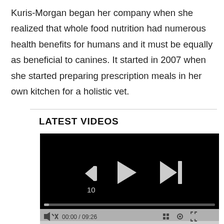Kuris-Morgan began her company when she realized that whole food nutrition had numerous health benefits for humans and it must be equally as beneficial to canines. It started in 2007 when she started preparing prescription meals in her own kitchen for a holistic vet.
LATEST VIDEOS
[Figure (screenshot): Video player with black background showing media controls: rewind 10 seconds button, play button, and skip-to-next button. A progress bar is visible at the bottom of the video area. Below is a control bar showing mute icon, 00:00 / 09:26 timestamp, grid/chapters icon, settings icon, and fullscreen icon.]